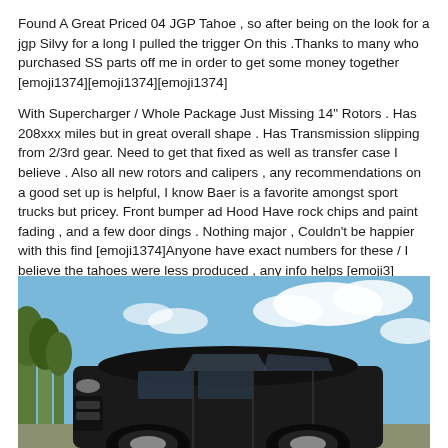Found A Great Priced 04 JGP Tahoe , so after being on the look for a jgp Silvy for a long I pulled the trigger On this .Thanks to many who purchased SS parts off me in order to get some money together [emoji1374][emoji1374][emoji1374]
With Supercharger / Whole Package Just Missing 14" Rotors . Has 208xxx miles but in great overall shape . Has Transmission slipping from 2/3rd gear. Need to get that fixed as well as transfer case I believe . Also all new rotors and calipers , any recommendations on a good set up is helpful, I know Baer is a favorite amongst sport trucks but pricey. Front bumper ad Hood Have rock chips and paint fading , and a few door dings . Nothing major , Couldn't be happier with this find [emoji1374]Anyone have exact numbers for these / I believe the tahoes were less produced , any info helps [emoji3]
[Figure (photo): Photo of a black SUV (JGP Tahoe) parked outdoors with blue sky and clouds in the background, trees visible on the left side.]